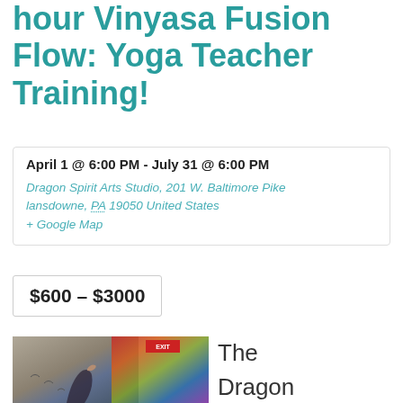hour Vinyasa Fusion Flow: Yoga Teacher Training!
April 1 @ 6:00 PM - July 31 @ 6:00 PM
Dragon Spirit Arts Studio, 201 W. Baltimore Pike lansdowne, PA 19050 United States + Google Map
$600 – $3000
[Figure (photo): Photo of a person doing yoga against a wall, with colorful tapestry visible and an EXIT sign in the background]
The Dragon Spirit Arts Yoga School's 50